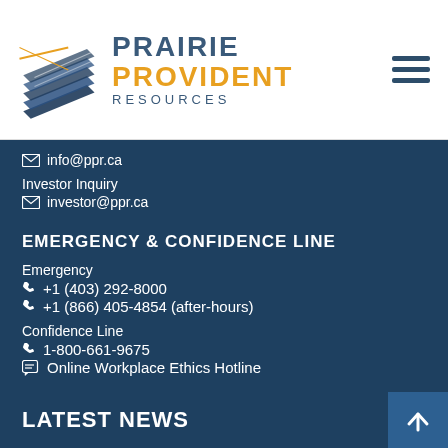[Figure (logo): Prairie Provident Resources logo with geometric blue wing/diamond shape and golden X accent, company name in blue and gold text]
✉ info@ppr.ca
Investor Inquiry
✉ investor@ppr.ca
EMERGENCY & CONFIDENCE LINE
Emergency
📞 +1 (403) 292-8000
📞 +1 (866) 405-4854 (after-hours)
Confidence Line
📞 1-800-661-9675
💬 Online Workplace Ethics Hotline
LATEST NEWS